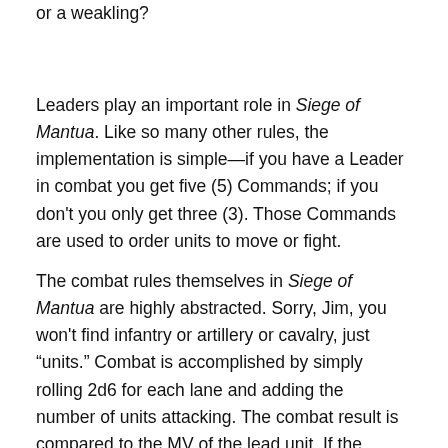or a weakling?
Leaders play an important role in Siege of Mantua. Like so many other rules, the implementation is simple—if you have a Leader in combat you get five (5) Commands; if you don't you only get three (3). Those Commands are used to order units to move or fight.
The combat rules themselves in Siege of Mantua are highly abstracted. Sorry, Jim, you won't find infantry or artillery or cavalry, just "units." Combat is accomplished by simply rolling 2d6 for each lane and adding the number of units attacking. The combat result is compared to the MV of the lead unit. If the combat result is greater than the MV of the unit, it is